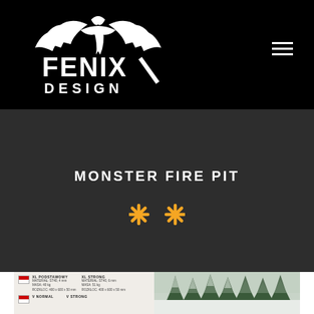[Figure (logo): Fenix Design logo with phoenix bird and bold text FENIX DESIGN on black background]
[Figure (illustration): Hamburger menu icon (three horizontal white lines) in top right corner]
MONSTER FIRE PIT
[Figure (illustration): Two golden/orange star or snowflake icons centered below the title]
[Figure (other): Bottom strip showing product specification table on white/beige background on the left, and a snowy outdoor scene with trees on the right]